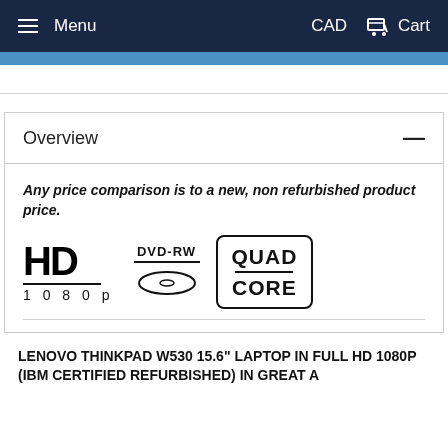Menu | CAD | Cart
Overview
Any price comparison is to a new, non refurbished product price.
[Figure (logo): HD 1080p badge, DVD-RW badge with disc icon, and QUAD CORE badge]
LENOVO THINKPAD W530 15.6" LAPTOP IN FULL HD 1080P (IBM CERTIFIED REFURBISHED) IN GREAT A CONDITION